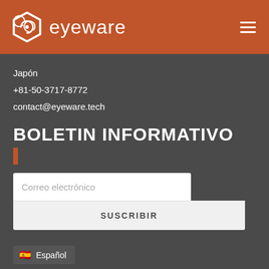[Figure (logo): Eyeware logo with hexagonal spiral icon and wordmark 'eyeware' in white on orange header bar]
Japón
+81-50-3717-8772
contact@eyeware.tech
BOLETIN INFORMATIVO
Correo electrónico
SUSCRIBIR
Español